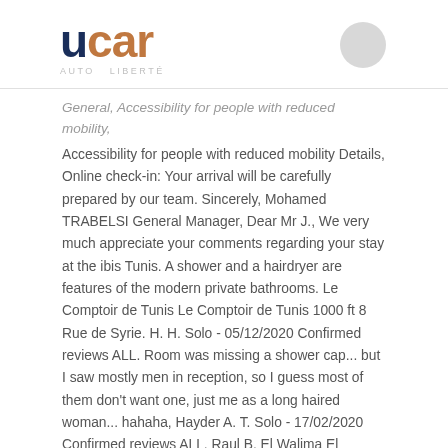[Figure (logo): UCAR logo with dark navy 'u' and brown/copper 'car' text, tagline below, and a gray circle icon to the right]
General, Accessibility for people with reduced mobility, Accessibility for people with reduced mobility Details, Online check-in: Your arrival will be carefully prepared by our team. Sincerely, Mohamed TRABELSI General Manager, Dear Mr J., We very much appreciate your comments regarding your stay at the ibis Tunis. A shower and a hairdryer are features of the modern private bathrooms. Le Comptoir de Tunis Le Comptoir de Tunis 1000 ft 8 Rue de Syrie. H. H. Solo - 05/12/2020 Confirmed reviews ALL. Room was missing a shower cap... but I saw mostly men in reception, so I guess most of them don't want one, just me as a long haired woman... hahaha, Hayder A. T. Solo - 17/02/2020 Confirmed reviews ALL, Raul B. El Walima El Walima 1800 ft 35 Rue Du Liban. Promotional content will be removed. Sincerely, Mohamed TRABELSI General